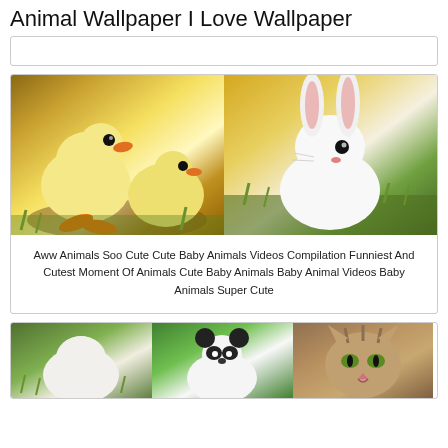Animal Wallpaper I Love Wallpaper
[Figure (photo): Search bar / text input box]
[Figure (photo): Two cute baby ducklings on the left and a white rabbit on the right, side by side]
Aww Animals Soo Cute Cute Baby Animals Videos Compilation Funniest And Cutest Moment Of Animals Cute Baby Animals Baby Animal Videos Baby Animals Super Cute
[Figure (photo): Three animals side by side at bottom: a white fluffy animal on grass, a panda bear, and a striped cat]